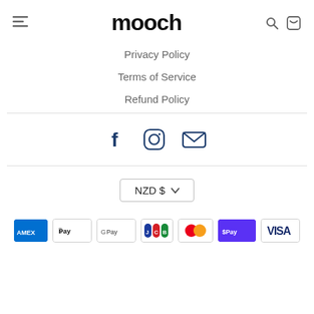mooch
Privacy Policy
Terms of Service
Refund Policy
[Figure (infographic): Social media icons: Facebook, Instagram, Email]
NZD $
[Figure (infographic): Payment method icons: American Express, Apple Pay, Google Pay, JCB, Mastercard, Shop Pay, Visa]